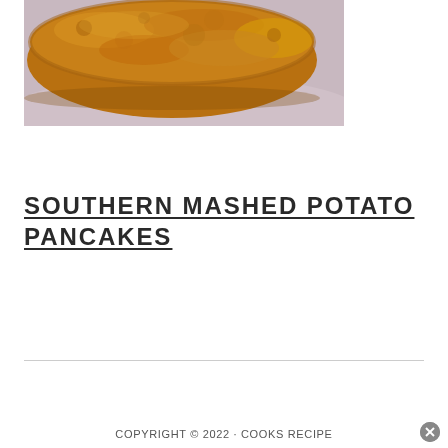[Figure (photo): Close-up photo of a golden-brown fried mashed potato pancake on a light purple/lavender plate, viewed from a low angle showing the crispy textured surface]
SOUTHERN MASHED POTATO PANCAKES
COPYRIGHT © 2022 · COOKS RECIPE